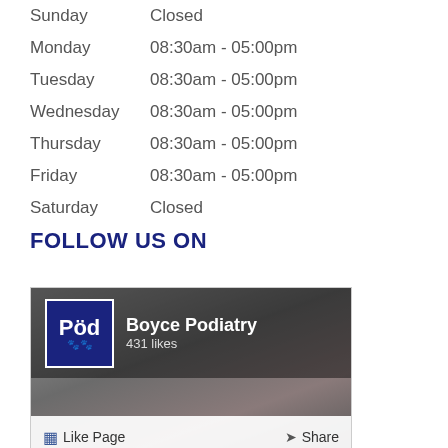| Day | Hours |
| --- | --- |
| Sunday | Closed |
| Monday | 08:30am - 05:00pm |
| Tuesday | 08:30am - 05:00pm |
| Wednesday | 08:30am - 05:00pm |
| Thursday | 08:30am - 05:00pm |
| Friday | 08:30am - 05:00pm |
| Saturday | Closed |
FOLLOW US ON
[Figure (screenshot): Facebook page widget for Boyce Podiatry showing 431 likes, with Like Page and Share buttons]